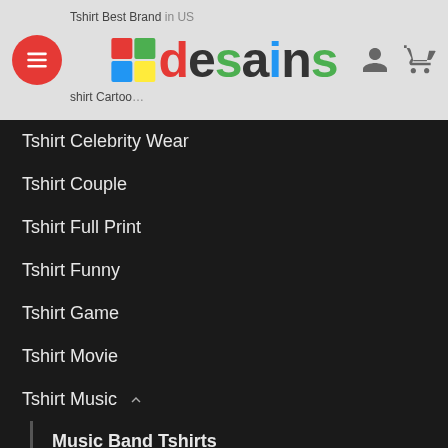desains — navigation header with hamburger menu, logo, user and cart icons
Tshirt Celebrity Wear
Tshirt Couple
Tshirt Full Print
Tshirt Funny
Tshirt Game
Tshirt Movie
Tshirt Music
Music Band Tshirts
Musically Tshirt
Tshirt Quotes
Tshirt Sports Merch
Tshirt TV Series
Tshirt With Graphics